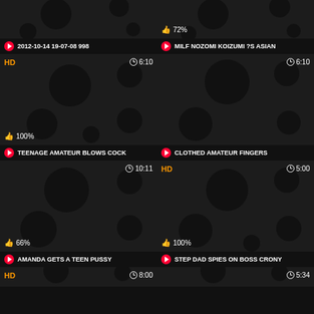[Figure (screenshot): Video thumbnail placeholder - dark with circles]
72%
2012-10-14 19-07-08 998
MILF NOZOMI KOIZUMI ?S ASIAN
[Figure (screenshot): HD video thumbnail, 6:10, 100%]
[Figure (screenshot): Video thumbnail, 6:10]
TEENAGE AMATEUR BLOWS COCK
CLOTHED AMATEUR FINGERS
[Figure (screenshot): Video thumbnail, 10:11, 66%]
[Figure (screenshot): HD video thumbnail, 5:00, 100%]
AMANDA GETS A TEEN PUSSY
STEP DAD SPIES ON BOSS CRONY
[Figure (screenshot): HD video thumbnail, 8:00]
[Figure (screenshot): Video thumbnail, 5:34]